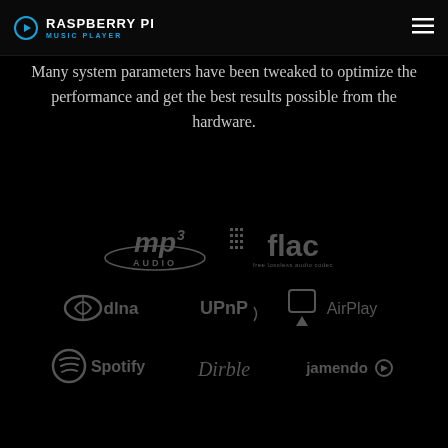RASPBERRY PI MUSIC PLAYER
Many system parameters have been tweaked to optimize the performance and get the best results possible from the hardware.
[Figure (logo): Logos for supported audio formats and streaming services: MP3 Audio, FLAC (Free Lossless Audio Codec), DLNA, UPnP, AirPlay, Spotify, Dirble, Jamendo]